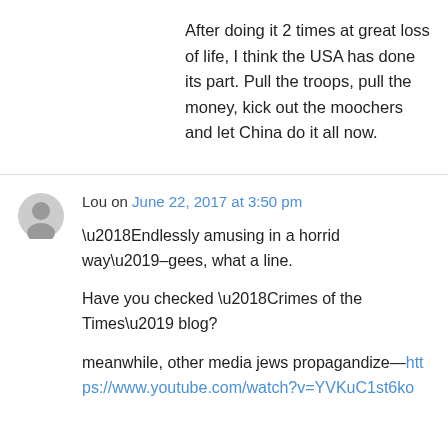After doing it 2 times at great loss of life, I think the USA has done its part. Pull the troops, pull the money, kick out the moochers and let China do it all now.
Lou on June 22, 2017 at 3:50 pm
‘Endlessly amusing in a horrid way’–gees, what a line.

Have you checked ‘Crimes of the Times’ blog?

meanwhile, other media jews propagandize—https://www.youtube.com/watch?v=YVKuC1st6ko